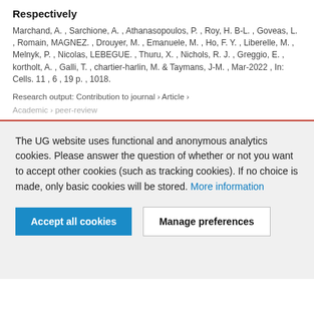Respectively
Marchand, A. , Sarchione, A. , Athanasopoulos, P. , Roy, H. B-L. , Goveas, L. , Romain, MAGNEZ. , Drouyer, M. , Emanuele, M. , Ho, F. Y. , Liberelle, M. , Melnyk, P. , Nicolas, LEBEGUE. , Thuru, X. , Nichols, R. J. , Greggio, E. , kortholt, A. , Galli, T. , chartier-harlin, M. & Taymans, J-M. , Mar-2022 , In: Cells. 11 , 6 , 19 p. , 1018.
Research output: Contribution to journal › Article ›
Academic › peer-review
The UG website uses functional and anonymous analytics cookies. Please answer the question of whether or not you want to accept other cookies (such as tracking cookies). If no choice is made, only basic cookies will be stored. More information
Accept all cookies
Manage preferences